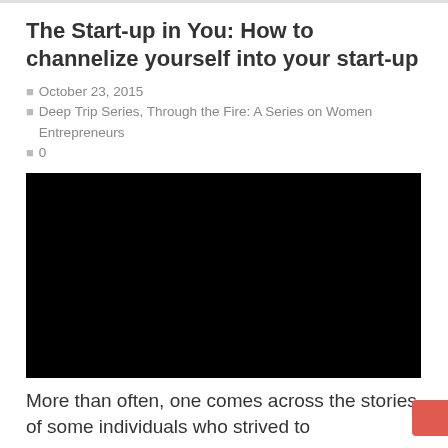The Start-up in You: How to channelize yourself into your start-up
🕐 October 23, 2015
🏷 Deep Trip Series, Through the Fire: A Series on Women Entrepreneurs
💬 0
[Figure (photo): A black image placeholder, likely an embedded video or image that did not load, displayed as a large black rectangle.]
More than often, one comes across the stories of some individuals who strived to